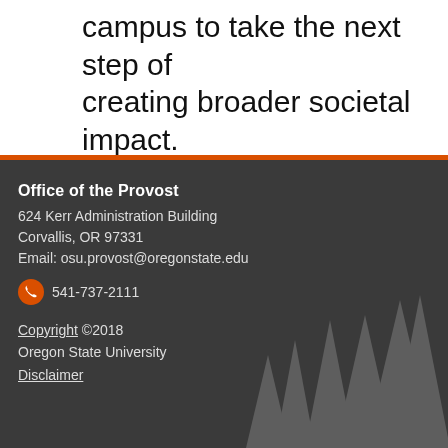campus to take the next step of creating broader societal impact.
Office of the Provost
624 Kerr Administration Building
Corvallis, OR 97331
Email: osu.provost@oregonstate.edu
541-737-2111
Copyright ©2018
Oregon State University
Disclaimer